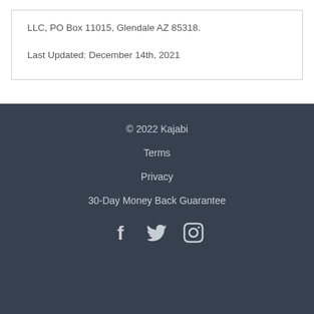LLC, PO Box 11015, Glendale AZ 85318.
Last Updated: December 14th, 2021
© 2022 Kajabi
Terms
Privacy
30-Day Money Back Guarantee
[Figure (other): Social media icons: Facebook, Twitter, Instagram]